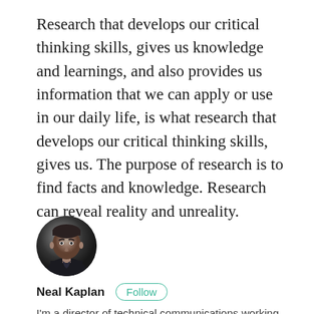Research that develops our critical thinking skills, gives us knowledge and learnings, and also provides us information that we can apply or use in our daily life, is what research that develops our critical thinking skills, gives us. The purpose of research is to find facts and knowledge. Research can reveal reality and unreality.
[Figure (photo): Circular profile photo of a middle-aged man with short dark hair, wearing a dark suit, against a dark background.]
Neal Kaplan   Follow
I'm a director of technical communications working for a data analysis startup in Redwood City. I started as a technical writer, and since then I've also been learning about information architecture, training, content strategy, and even something about customer support. I'm also passionate...